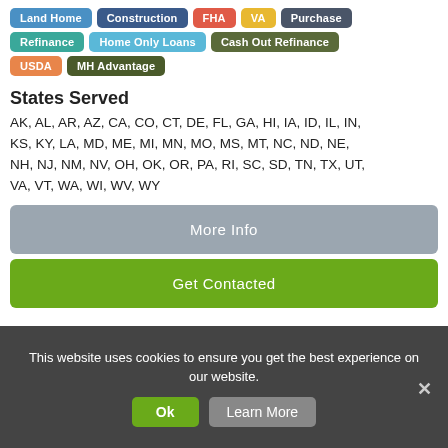Land Home
Construction
FHA
VA
Purchase
Refinance
Home Only Loans
Cash Out Refinance
USDA
MH Advantage
States Served
AK, AL, AR, AZ, CA, CO, CT, DE, FL, GA, HI, IA, ID, IL, IN, KS, KY, LA, MD, ME, MI, MN, MO, MS, MT, NC, ND, NE, NH, NJ, NM, NV, OH, OK, OR, PA, RI, SC, SD, TN, TX, UT, VA, VT, WA, WI, WV, WY
More Info
Get Contacted
This website uses cookies to ensure you get the best experience on our website.
Ok
Learn More